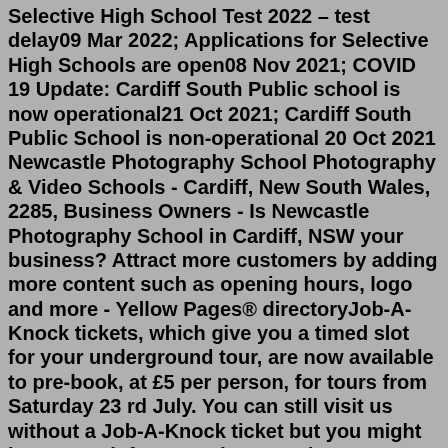Selective High School Test 2022 – test delay09 Mar 2022; Applications for Selective High Schools are open08 Nov 2021; COVID 19 Update: Cardiff South Public school is now operational21 Oct 2021; Cardiff South Public School is non-operational 20 Oct 2021 Newcastle Photography School Photography & Video Schools - Cardiff, New South Wales, 2285, Business Owners - Is Newcastle Photography School in Cardiff, NSW your business? Attract more customers by adding more content such as opening hours, logo and more - Yellow Pages® directoryJob-A-Knock tickets, which give you a timed slot for your underground tour, are now available to pre-book, at £5 per person, for tours from Saturday 23 rd July. You can still visit us without a Job-A-Knock ticket but you might have to wait for an underground tour: Pre-book your ticket. Due to unforeseen circumstances we are currently unable to ...Open Days are the perfect opportunity for you to experience first-hand what it's like to study and live in Wales' capital city. You'll be able to find out more about your subject of interest at